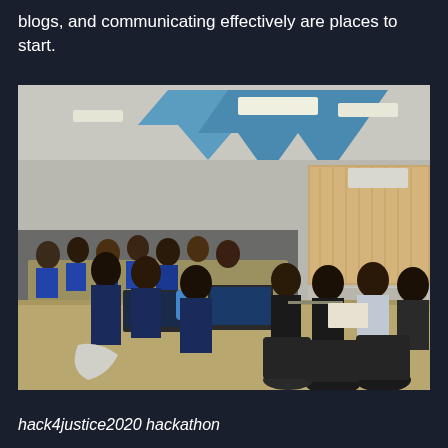blogs, and communicating effectively are places to start.
[Figure (photo): Hackathon event photo showing participants seated at long tables with laptops in an office/co-working space. The room has blue geometric chevron shapes on the ceiling. People wearing blue lanyards/badges are working. The room is full of participants in the background.]
hack4justice2020 hackathon